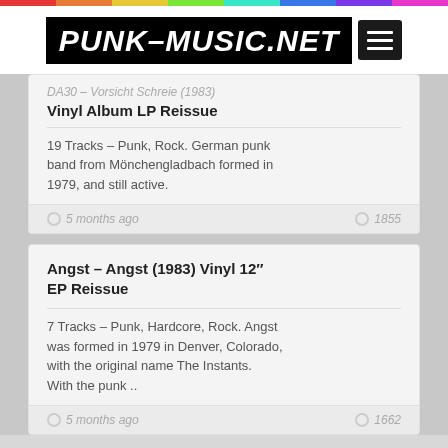PUNK-MUSIC.NET
DA30 – Vorsicht Schreie (1983) Vinyl Album LP Reissue
19 Tracks – Punk, Rock. German punk band from Mönchengladbach formed in 1979, and still active.
5 months ago   1855
Angst – Angst (1983) Vinyl 12" EP Reissue
7 Tracks – Punk, Hardcore, Rock. Angst was formed in 1979 in Denver, Colorado, with the original name The Instants. With the punk ..
5 months ago   1662